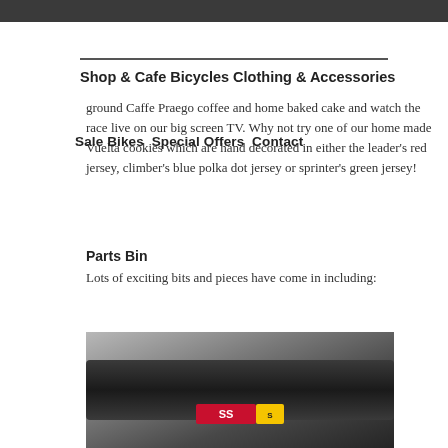Shop & Cafe Bicycles Clothing & Accessories
Sale Bikes  Special Offers  Contact
ground Caffe Praego coffee and home baked cake and watch the race live on our big screen TV. Why not try one of our home made Vuelta cookies which are hand decorated in either the leader’s red jersey, climber’s blue polka dot jersey or sprinter’s green jersey!
Parts Bin
Lots of exciting bits and pieces have come in including:
[Figure (photo): Close-up photo of a bicycle tyre with a red and yellow label, showing dark rubber tread texture]